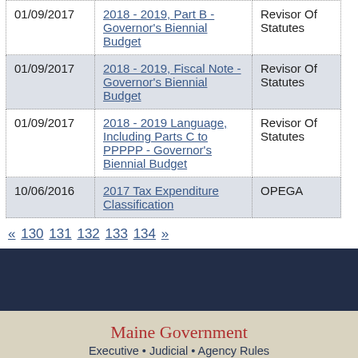| Date | Title | Source |
| --- | --- | --- |
| 01/09/2017 | 2018 - 2019, Part B - Governor's Biennial Budget | Revisor Of Statutes |
| 01/09/2017 | 2018 - 2019, Fiscal Note - Governor's Biennial Budget | Revisor Of Statutes |
| 01/09/2017 | 2018 - 2019 Language, Including Parts C to PPPPP - Governor's Biennial Budget | Revisor Of Statutes |
| 10/06/2016 | 2017 Tax Expenditure Classification | OPEGA |
« 130 131 132 133 134 »
[Figure (photo): Dark navy banner background image]
Maine Government
Executive • Judicial • Agency Rules
Visit the State House
Tour Guide • Accessibility • Security Screening • Directions &